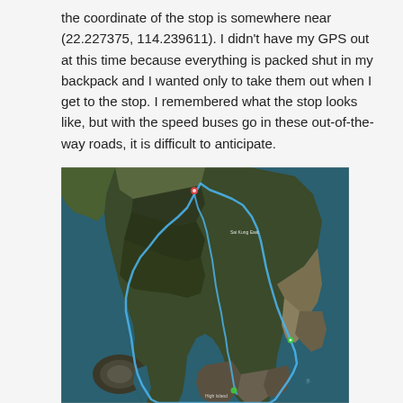the coordinate of the stop is somewhere near (22.227375, 114.239611). I didn't have my GPS out at this time because everything is packed shut in my backpack and I wanted only to take them out when I get to the stop. I remembered what the stop looks like, but with the speed buses go in these out-of-the-way roads, it is difficult to anticipate.
[Figure (map): Satellite/aerial map view of a coastal peninsula with a blue GPS track route overlay. The route traces a loop around the hilly terrain near the coast, with water (ocean) visible on multiple sides. Residential or urban areas are visible at the top and bottom of the peninsula.]